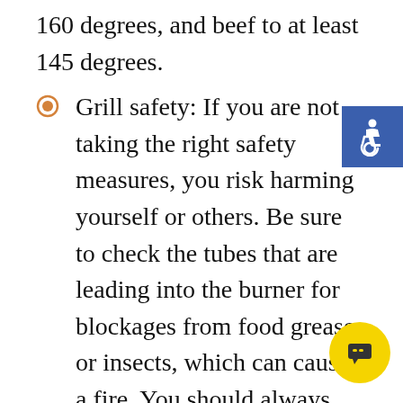160 degrees, and beef to at least 145 degrees.
Grill safety: If you are not taking the right safety measures, you risk harming yourself or others. Be sure to check the tubes that are leading into the burner for blockages from food grease or insects, which can cause a fire. You should always make sure your grill is thoroughly cleaned and free of dust and grease. It is also crucial to use your grill in an appropriate location and never in a garage, breezeway, carport, or near a surface that can catch fire.